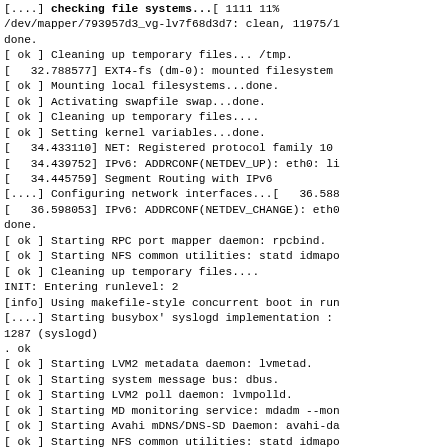[....] checking file systems...[ 1111 11%
/dev/mapper/793957d3_vg-lv7f68d3d7: clean, 11975/1
done.
[ ok ] Cleaning up temporary files... /tmp.
[   32.788577] EXT4-fs (dm-0): mounted filesystem
[ ok ] Mounting local filesystems...done.
[ ok ] Activating swapfile swap...done.
[ ok ] Cleaning up temporary files....
[ ok ] Setting kernel variables...done.
[   34.433110] NET: Registered protocol family 10
[   34.439752] IPv6: ADDRCONF(NETDEV_UP): eth0: li
[   34.445759] Segment Routing with IPv6
[....] Configuring network interfaces...[   36.588
[   36.598053] IPv6: ADDRCONF(NETDEV_CHANGE): eth0
done.
[ ok ] Starting RPC port mapper daemon: rpcbind.
[ ok ] Starting NFS common utilities: statd idmapd
[ ok ] Cleaning up temporary files....
INIT: Entering runlevel: 2
[info] Using makefile-style concurrent boot in run
[....] Starting busybox' syslogd implementation :
1287 (syslogd)
. ok
[ ok ] Starting LVM2 metadata daemon: lvmetad.
[ ok ] Starting system message bus: dbus.
[ ok ] Starting LVM2 poll daemon: lvmpolld.
[ ok ] Starting MD monitoring service: mdadm --mon
[ ok ] Starting Avahi mDNS/DNS-SD Daemon: avahi-da
[ ok ] Starting NFS common utilities: statd idmapd
[   42.991493] NFSD: starting 90-second grace peri
[    ] Starting busybox' klogd implementation : kl